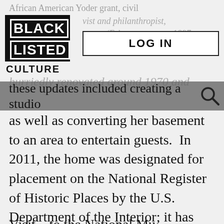[Figure (logo): Black Listed Culture logo — black square with WHITE text 'BLACK' and 'LISTED' stacked, each in a white border box, with 'CULTURE' in black below]
LOG IN
these updates included creating a studio as well as converting her basement to an area to entertain guests.  In 2011, the home was designated for placement on the National Register of Historic Places by the U.S. Department of the Interior; it has also been honored as a historical landmark by the State of Pennsylvania.
Visit... to the National Mu...